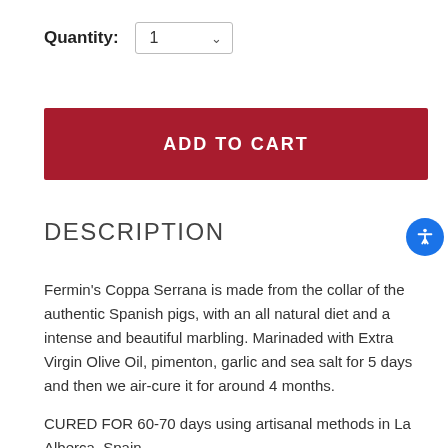Quantity: 1
ADD TO CART
DESCRIPTION
Fermin's Coppa Serrana is made from the collar of the authentic Spanish pigs, with an all natural diet and a intense and beautiful marbling. Marinaded with Extra Virgin Olive Oil, pimenton, garlic and sea salt for 5 days and then we air-cure it for around 4 months.
CURED FOR 60-70 days using artisanal methods in La Alberca, Spain